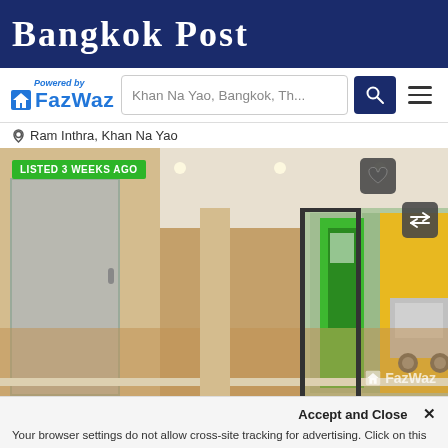Bangkok Post
[Figure (logo): FazWaz logo with 'Powered by' text above and home icon to the left of FazWaz name in blue]
Khan Na Yao, Bangkok, Th...
Ram Inthra, Khan Na Yao
[Figure (photo): Interior photo of an empty commercial or residential space with tan walls and floor, a door on the left, large glass sliding doors/windows in the background showing a green vending machine and yellow wall outside, and a car visible. Badge says 'LISTED 3 WEEKS AGO'. FazWaz watermark at bottom right.]
Accept and Close ✕
Your browser settings do not allow cross-site tracking for advertising. Click on this page to allow AdRoll to use cross-site tracking to tailor ads to you. Learn more or opt out of this AdRoll tracking by clicking here. This message only appears once.